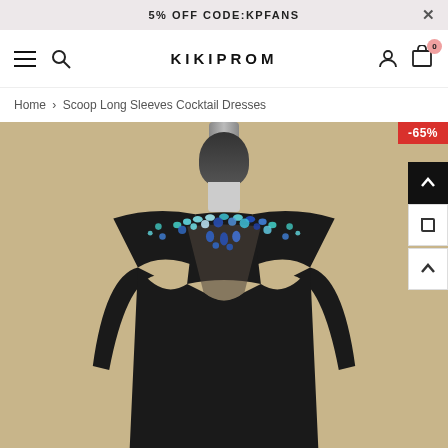5% OFF CODE:KPFANS
[Figure (screenshot): Website navigation bar with hamburger menu, search icon, KIKIPROM logo, user icon, and cart icon with badge showing 0]
Home > Scoop Long Sleeves Cocktail Dresses
[Figure (photo): A black cocktail dress with scoop neckline and long sleeves displayed on a mannequin. The neckline and shoulders are heavily embellished with turquoise, blue, and crystal rhinestones and beading. The dress has a sheer V-shaped panel at the front bodice. Background is tan/beige. A -65% discount badge appears in the top right of the image. Three side navigation buttons (scroll up, resize, and back to top) appear on the right side.]